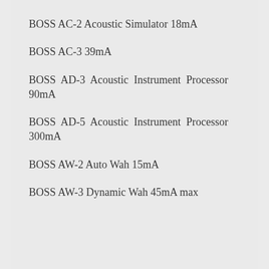BOSS AC-2 Acoustic Simulator 18mA
BOSS AC-3 39mA
BOSS AD-3 Acoustic Instrument Processor 90mA
BOSS AD-5 Acoustic Instrument Processor 300mA
BOSS AW-2 Auto Wah 15mA
BOSS AW-3 Dynamic Wah 45mA max